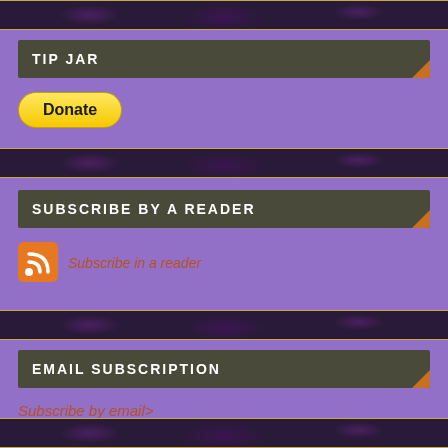TIP JAR
[Figure (other): PayPal Donate button - yellow rounded pill button with bold text 'Donate']
SUBSCRIBE BY A READER
[Figure (other): RSS feed icon - orange rounded square with white RSS signal waves]
Subscribe in a reader
EMAIL SUBSCRIPTION
Subscribe by email>